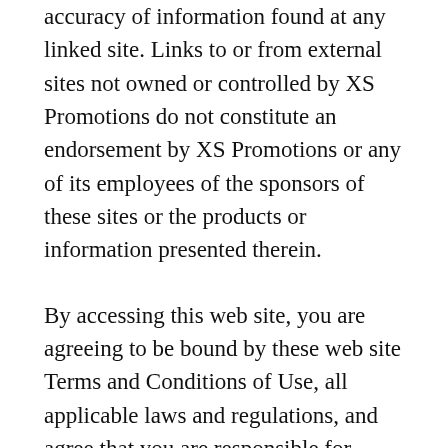accuracy of information found at any linked site. Links to or from external sites not owned or controlled by XS Promotions do not constitute an endorsement by XS Promotions or any of its employees of the sponsors of these sites or the products or information presented therein.
By accessing this web site, you are agreeing to be bound by these web site Terms and Conditions of Use, all applicable laws and regulations, and agree that you are responsible for compliance with any applicable local laws. If you do not agree with any of these terms, you are prohibited from using or accessing this site. The materials contained in this web site are protected by applicable copyright and trade